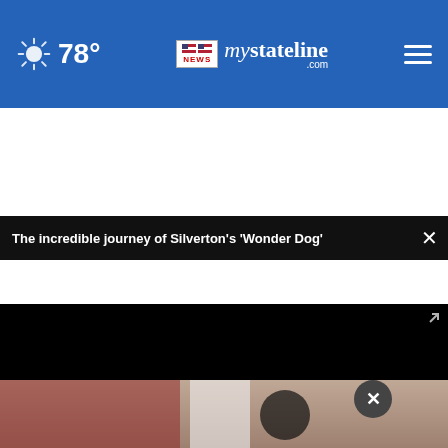78° mystateline.com NEWS
The incredible journey of Silverton's 'Wonder Dog'
[Figure (screenshot): Black video player area with play button and mute icon controls at the bottom left, and expand icon at bottom right. Video appears to be paused or loading (black screen).]
[Figure (photo): Partial view of a photo showing objects on a surface, partially obscured by the ad overlay. A close/dismiss circle button with X is visible.]
For the best reviews, go to BESTREVIEWS — Go Now